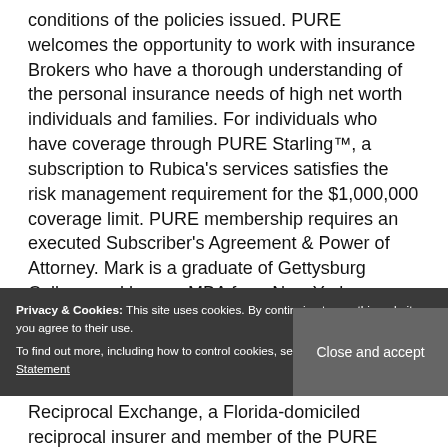conditions of the policies issued. PURE welcomes the opportunity to work with insurance Brokers who have a thorough understanding of the personal insurance needs of high net worth individuals and families. For individuals who have coverage through PURE Starling™, a subscription to Rubica's services satisfies the risk management requirement for the $1,000,000 coverage limit. PURE membership requires an executed Subscriber's Agreement & Power of Attorney. Mark is a graduate of Gettysburg College and has an MBA from New York University's Leonard N. Stern School of Business. All these collections were threatened when the Tubbs Fire broke out in Calistoga, a little over a mile from their home. While future SSA allocations are not
Privacy & Cookies: This site uses cookies. By continuing to use this website, you agree to their use.
To find out more, including how to control cookies, see here: Cookie & Privacy Statement
Close and accept
Reciprocal Exchange, a Florida-domiciled reciprocal insurer and member of the PURE Group of Insurance